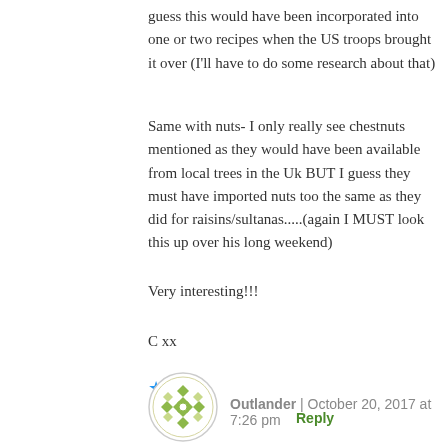guess this would have been incorporated into one or two recipes when the US troops brought it over (I'll have to do some research about that)
Same with nuts- I only really see chestnuts mentioned as they would have been available from local trees in the Uk BUT I guess they must have imported nuts too the same as they did for raisins/sultanas.....(again I MUST look this up over his long weekend)
Very interesting!!!
C xx
Like
Reply
[Figure (illustration): Circular avatar icon with green and white diamond/lattice pattern]
Outlander | October 20, 2017 at 7:26 pm